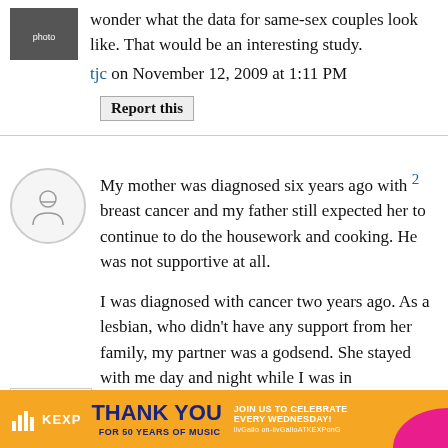wonder what the data for same-sex couples look like. That would be an interesting study.
tjc on November 12, 2009 at 1:11 PM
Report this
My mother was diagnosed six years ago with breast cancer and my father still expected her to continue to do the housework and cooking. He was not supportive at all.
I was diagnosed with cancer two years ago. As a lesbian, who didn't have any support from her family, my partner was a godsend. She stayed with me day and night while I was in
[Figure (infographic): KEXP Thank You For 50 Years of Music advertisement banner with orange background and pink blob]